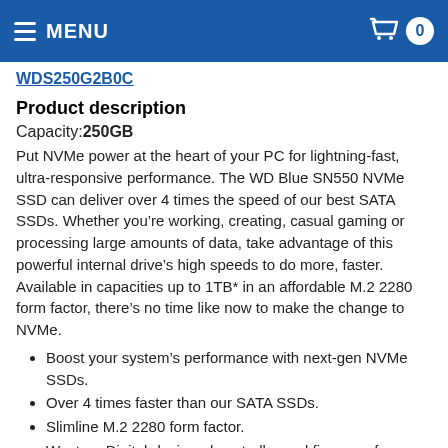MENU | 0
WDS250G2B0C
Product description
Capacity: 250GB
Put NVMe power at the heart of your PC for lightning-fast, ultra-responsive performance. The WD Blue SN550 NVMe SSD can deliver over 4 times the speed of our best SATA SSDs. Whether you’re working, creating, casual gaming or processing large amounts of data, take advantage of this powerful internal drive’s high speeds to do more, faster. Available in capacities up to 1TB* in an affordable M.2 2280 form factor, there’s no time like now to make the change to NVMe.
Boost your system's performance with next-gen NVMe SSDs.
Over 4 times faster than our SATA SSDs.
Slimline M.2 2280 form factor.
Western Digital-designed controller and firmware for optimized performance.
Western Digital SSD Dashboard (ongoing performance monitoring)